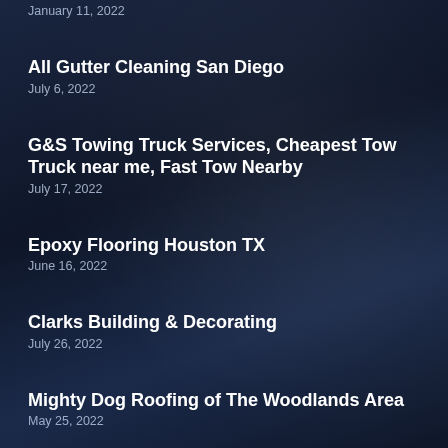January 11, 2022
All Gutter Cleaning San Diego
July 6, 2022
G&S Towing Truck Services, Cheapest Tow Truck near me, Fast Tow Nearby
July 17, 2022
Epoxy Flooring Houston TX
June 16, 2022
Clarks Building & Decorating
July 26, 2022
Mighty Dog Roofing of The Woodlands Area
May 25, 2022